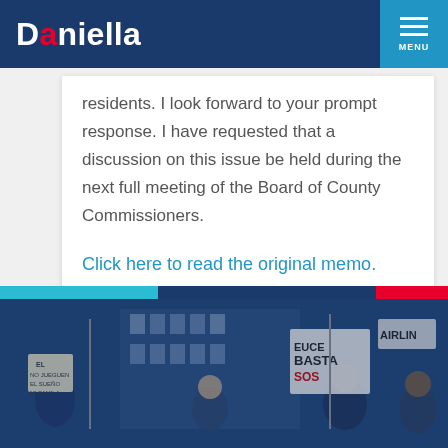Daniella [menu]
residents. I look forward to your prompt response. I have requested that a discussion on this issue be held during the next full meeting of the Board of County Commissioners.
Click here to read the original memo.
[Figure (photo): Protest scene with people holding signs including 'BASTASOS' and 'AIRLINE', with a blue and navy overlay color bar at the top of the image strip]